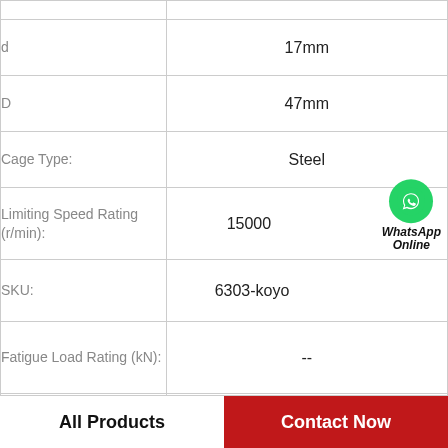| Parameter | Value |
| --- | --- |
| d | 17mm |
| D | 47mm |
| Cage Type: | Steel |
| Limiting Speed Rating (r/min): | 15000 |
| SKU: | 6303-koyo |
| Fatigue Load Rating (kN): | -- |
| Clearance: | Standard |
All Products    Contact Now